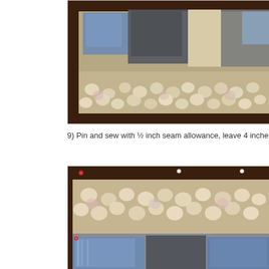[Figure (photo): Close-up of a quilt showing patchwork blocks with denim and patterned fabrics, surrounded by a border fabric with small cupcake or floral appliques on a beige/tan background, with a dark brown border.]
9) Pin and sew with ½ inch seam allowance, leave 4 inches open
[Figure (photo): Close-up of the quilt border being pinned together, showing the cupcake/floral applique border fabric pinned with red and white pins along the dark brown border, with denim patchwork blocks visible at the bottom.]